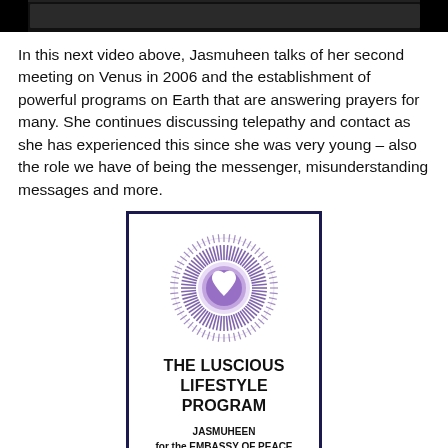[Figure (photo): Black and white photo strip at top of page, partially visible]
In this next video above, Jasmuheen talks of her second meeting on Venus in 2006 and the establishment of powerful programs on Earth that are answering prayers for many. She continues discussing telepathy and contact as she has experienced this since she was very young – also the role we have of being the messenger, misunderstanding messages and more.
[Figure (illustration): Book cover for 'The Luscious Lifestyle Program' by Jasmuheen for the Embassy of Peace, featuring a purple mandala/sunburst with a white heart in the center, surrounded by text words like happiness, harmony, health, etc. Navy blue border.]